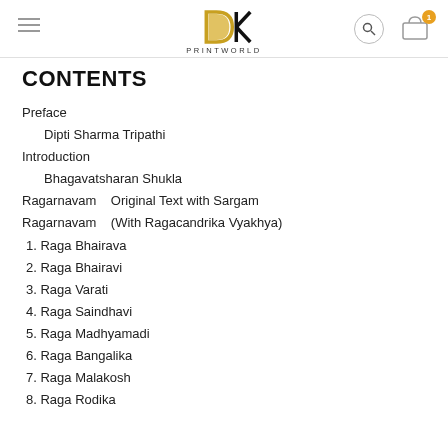DK PRINTWORLD
CONTENTS
Preface
Dipti Sharma Tripathi
Introduction
Bhagavatsharan Shukla
Ragarnavam    Original Text with Sargam
Ragarnavam    (With Ragacandrika Vyakhya)
1. Raga Bhairava
2. Raga Bhairavi
3. Raga Varati
4. Raga Saindhavi
5. Raga Madhyamadi
6. Raga Bangalika
7. Raga Malakosh
8. Raga Rodika